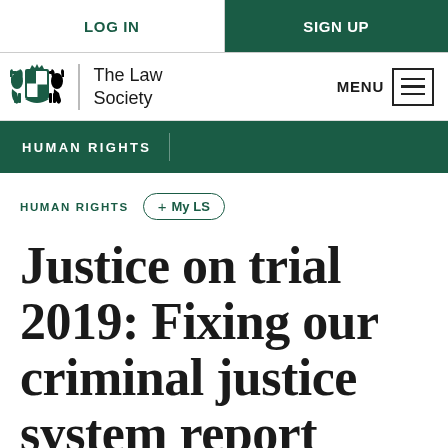LOG IN | SIGN UP
[Figure (logo): The Law Society crest logo with text 'The Law Society' and hamburger MENU button]
HUMAN RIGHTS
HUMAN RIGHTS  + My LS
Justice on trial 2019: Fixing our criminal justice system report